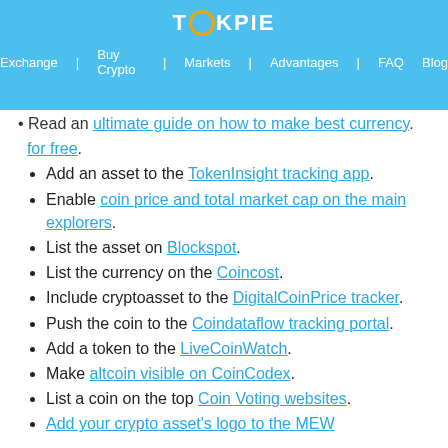TOKPIE — Exchange | Buy Crypto | Markets | Advantages | FAQ | Blog
Read an ultimate guide on how to make best currency.
for free.
Add an asset to the TokenInsight tracking app.
Enable coin price and total market cap on the main explorers.
List the asset on Blockspot.
List the currency on the Coincost.
Include cryptoasset to the DigitalCoinPrice tracker.
Push the coin to the Coindataflow tracking portal.
Add a token to the LiveCoinWatch.
Make altcoin visible on CoinCodex.
List a coin on the top Coin Voting websites.
Add your crypto asset's logo to the MEW